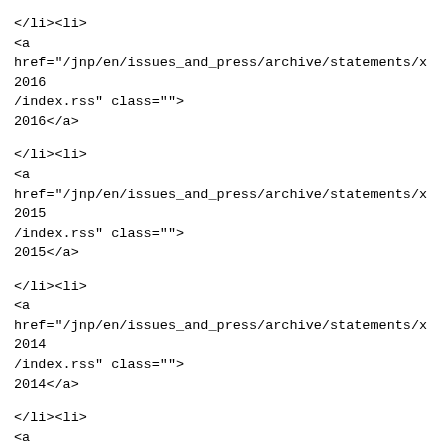</li><li>
<a
href="/jnp/en/issues_and_press/archive/statements/x2016
/index.rss" class="">
2016</a>
</li><li>
<a
href="/jnp/en/issues_and_press/archive/statements/x2015
/index.rss" class="">
2015</a>
</li><li>
<a
href="/jnp/en/issues_and_press/archive/statements/x2014
/index.rss" class="">
2014</a>
</li><li>
<a
href="/jnp/en/issues_and_press/archive/statements/x2013
/index.rss" class="">
2013</a>
</li><li>
<a
href="/jnp/en/issues_and_press/archive/statements/x2012
/index.rss" class="">
2012</a>